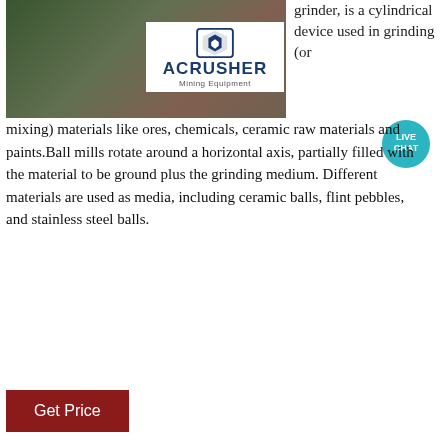[Figure (photo): Industrial mining site photograph with ACRUSHER Mining Equipment logo overlay on white box]
grinder, is a cylindrical device used in grinding (or mixing) materials like ores, chemicals, ceramic raw materials and paints.Ball mills rotate around a horizontal axis, partially filled with the material to be ground plus the grinding medium. Different materials are used as media, including ceramic balls, flint pebbles, and stainless steel balls.
[Figure (other): Live Chat speech bubble icon with teal background and white text LIVE CHAT]
Get Price
[Figure (photo): Industrial mining/processing plant with conveyor belts and machinery on hillside]
Battery Sorter Sorting Machine
Automatic Sorting